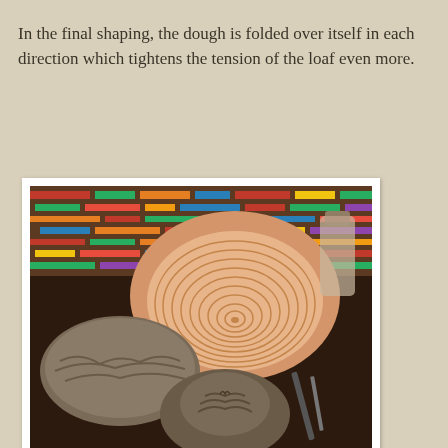In the final shaping, the dough is folded over itself in each direction which tightens the tension of the loaf even more.
[Figure (photo): Two bread proofing baskets (bannetons) on a dark surface in front of a colorful tiled backsplash. One basket is overturned showing its ribbed interior in a peach/cream color. Another basket is covered with a grey cotton cloth cover, and a shaped dough round in a grey cloth cover sits in the foreground.]
Baskets with washable cotton covers